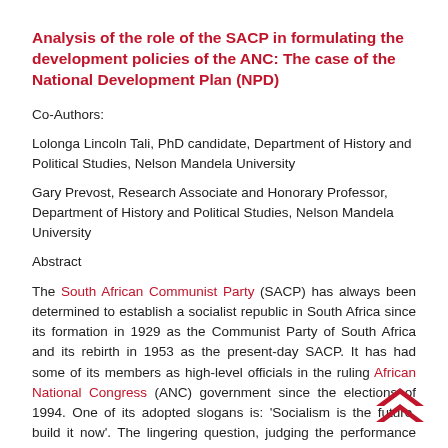Analysis of the role of the SACP in formulating the development policies of the ANC: The case of the National Development Plan (NPD)
Co-Authors:
Lolonga Lincoln Tali, PhD candidate, Department of History and Political Studies, Nelson Mandela University
Gary Prevost, Research Associate and Honorary Professor, Department of History and Political Studies, Nelson Mandela University
Abstract
The South African Communist Party (SACP) has always been determined to establish a socialist republic in South Africa since its formation in 1929 as the Communist Party of South Africa and its rebirth in 1953 as the present-day SACP. It has had some of its members as high-level officials in the ruling African National Congress (ANC) government since the elections of 1994. One of its adopted slogans is: 'Socialism is the future, build it now'. The lingering question, judging the performance and trajectory of the economy and the lives of the previously disadvantaged, is